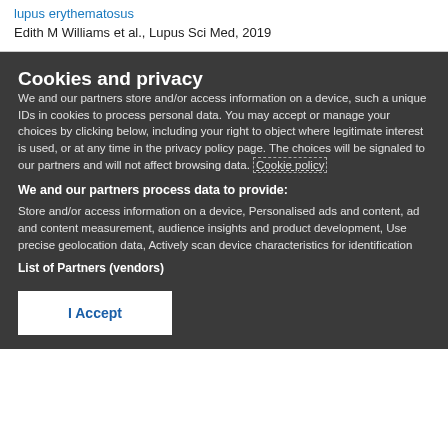lupus erythematosus
Edith M Williams et al., Lupus Sci Med, 2019
Cookies and privacy
We and our partners store and/or access information on a device, such as unique IDs in cookies to process personal data. You may accept or manage your choices by clicking below, including your right to object where legitimate interest is used, or at any time in the privacy policy page. These choices will be signaled to our partners and will not affect browsing data. Cookie policy
We and our partners process data to provide:
Store and/or access information on a device, Personalised ads and content, ad and content measurement, audience insights and product development, Use precise geolocation data, Actively scan device characteristics for identification
List of Partners (vendors)
I Accept